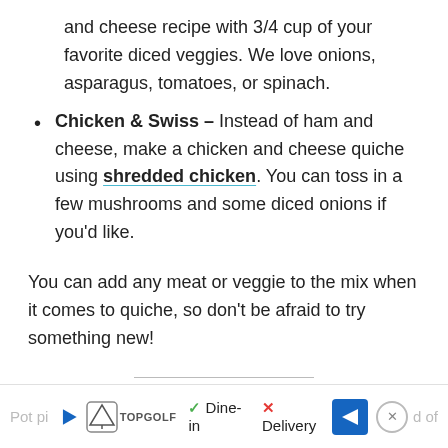and cheese recipe with 3/4 cup of your favorite diced veggies. We love onions, asparagus, tomatoes, or spinach.
Chicken & Swiss – Instead of ham and cheese, make a chicken and cheese quiche using shredded chicken. You can toss in a few mushrooms and some diced onions if you'd like.
You can add any meat or veggie to the mix when it comes to quiche, so don't be afraid to try something new!
MAKE A POT PIE
Pot pi... d of